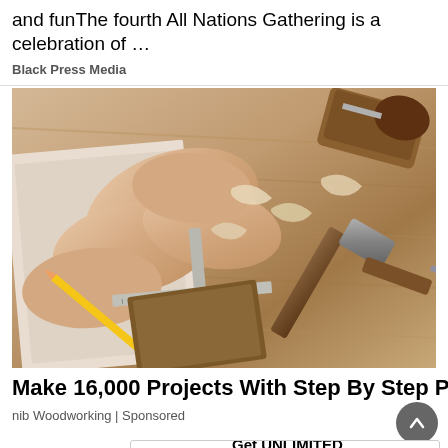and funThe fourth All Nations Gathering is a celebration of …
Black Press Media
[Figure (photo): Close-up photo of hands doing woodworking — a person holding a pencil measuring wood on a workbench with a hammer, wood plane, wood shavings, and ruler visible]
Make 16,000 Projects With Step By Step Plans
nib Woodworking | Sponsored
[Figure (other): Mascon by TELUS advertisement banner: 'Get UNLIMITED data and save up to $410!*' with a Learn More button]